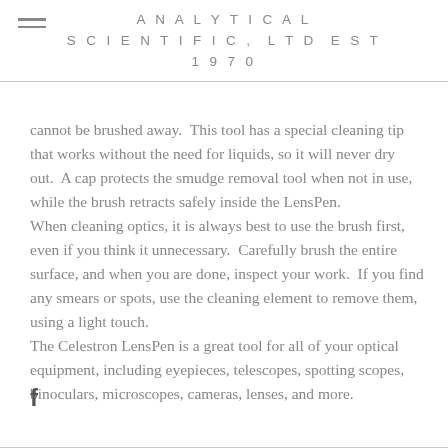ANALYTICAL SCIENTIFIC, LTD EST 1970
cannot be brushed away.  This tool has a special cleaning tip that works without the need for liquids, so it will never dry out.  A cap protects the smudge removal tool when not in use, while the brush retracts safely inside the LensPen.
When cleaning optics, it is always best to use the brush first, even if you think it unnecessary.  Carefully brush the entire surface, and when you are done, inspect your work.  If you find any smears or spots, use the cleaning element to remove them, using a light touch.
The Celestron LensPen is a great tool for all of your optical equipment, including eyepieces, telescopes, spotting scopes, binoculars, microscopes, cameras, lenses, and more.
[Figure (logo): Facebook logo icon (lowercase f)]